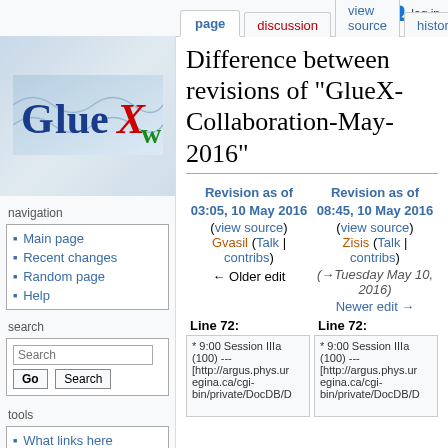page | discussion | view source | history | log in
[Figure (logo): GlueX logo with stylized text in blue and red/green]
navigation
Main page
Recent changes
Random page
Help
search
tools
What links here
Related changes
Special pages
Printable version
Permanent link
Difference between revisions of "GlueX-Collaboration-May-2016"
Revision as of 03:05, 10 May 2016 (view source)
Gvasil (Talk | contribs)
← Older edit
Revision as of 08:45, 10 May 2016 (view source)
Zisis (Talk | contribs)
(→Tuesday May 10, 2016)
Newer edit →
Line 72:
Line 72:
* 9:00  Session IIIa (100) ---
[http://argus.phys.ur
egina.ca/cgi-
bin/private/DocDB/D
* 9:00  Session IIIa (100) ---
[http://argus.phys.ur
egina.ca/cgi-
bin/private/DocDB/D